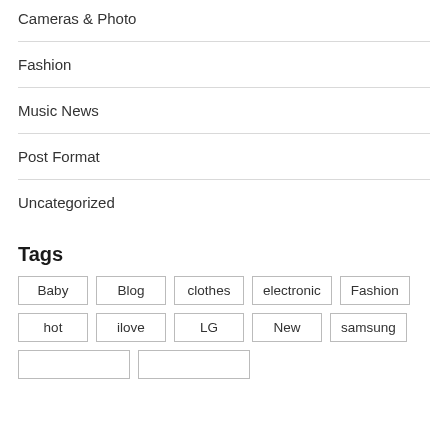Cameras & Photo
Fashion
Music News
Post Format
Uncategorized
Tags
Baby
Blog
clothes
electronic
Fashion
hot
ilove
LG
New
samsung